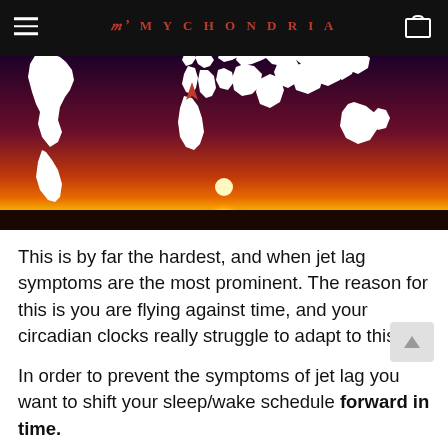MYCHONDRIA
[Figure (photo): World map silhouette overlaid on a sunset horizon landscape with orange and red gradient sky and a bright sun on the horizon. Red arrow pointing northward on the map.]
This is by far the hardest, and when jet lag symptoms are the most prominent. The reason for this is you are flying against time, and your circadian clocks really struggle to adapt to this.
In order to prevent the symptoms of jet lag you want to shift your sleep/wake schedule forward in time.
For our example, we will travel from California to London (8 hours difference).